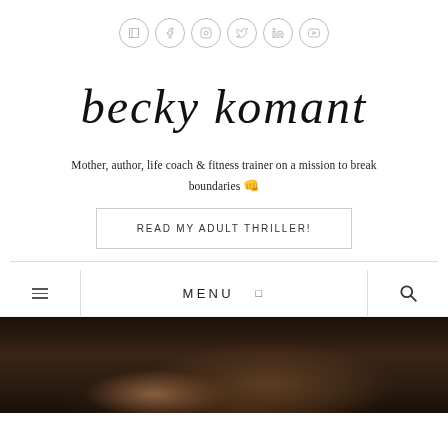[Figure (other): Row of 6 social media icon circles with light gray border]
becky komant
Mother, author, life coach & fitness trainer on a mission to break boundaries 👊
READ MY ADULT THRILLER!
MENU
[Figure (photo): Dark photo of person with brown hair, cropped at bottom of page]